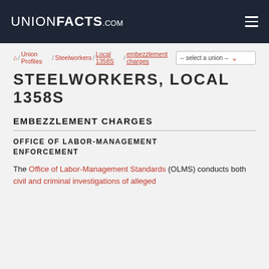UNIONFACTS.COM
🏠 / Union Profiles / Steelworkers / Local 1358S / embezzlement charges
STEELWORKERS, LOCAL 1358S
EMBEZZLEMENT CHARGES
OFFICE OF LABOR-MANAGEMENT ENFORCEMENT
The Office of Labor-Management Standards (OLMS) conducts both civil and criminal investigations of alleged